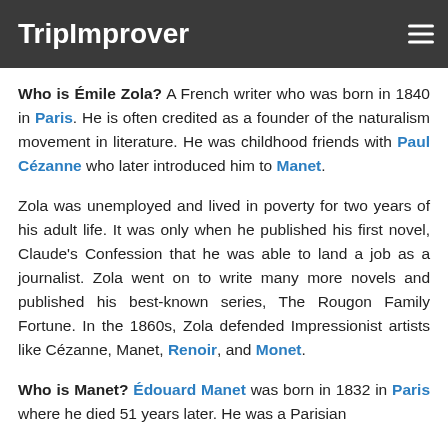TripImprover
Who is Émile Zola? A French writer who was born in 1840 in Paris. He is often credited as a founder of the naturalism movement in literature. He was childhood friends with Paul Cézanne who later introduced him to Manet.
Zola was unemployed and lived in poverty for two years of his adult life. It was only when he published his first novel, Claude's Confession that he was able to land a job as a journalist. Zola went on to write many more novels and published his best-known series, The Rougon Family Fortune. In the 1860s, Zola defended Impressionist artists like Cézanne, Manet, Renoir, and Monet.
Who is Manet? Édouard Manet was born in 1832 in Paris where he died 51 years later. He was a Parisian...